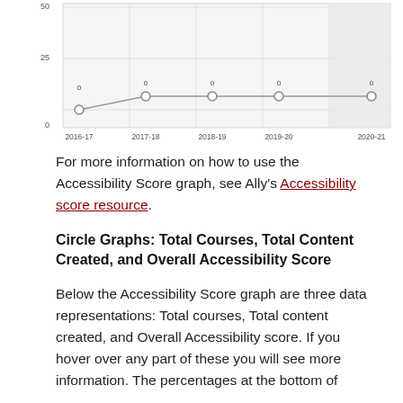[Figure (line-chart): Accessibility Score over time]
For more information on how to use the Accessibility Score graph, see Ally's Accessibility score resource.
Circle Graphs: Total Courses, Total Content Created, and Overall Accessibility Score
Below the Accessibility Score graph are three data representations: Total courses, Total content created, and Overall Accessibility score. If you hover over any part of these you will see more information. The percentages at the bottom of